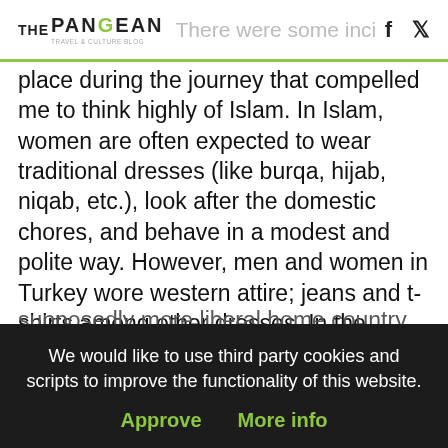THE PANGEAN
place during the journey that compelled me to think highly of Islam. In Islam, women are often expected to wear traditional dresses (like burqa, hijab, niqab, etc.), look after the domestic chores, and behave in a modest and polite way. However, men and women in Turkey wore western attire; jeans and t-shirts among other dresses. In the entirety of my journey, from a big city like Istanbul to a small town like Selcuk, I did not see more than 20% of the women with headscarves, let alone garments fully covering their body. The work culture was inclusive and women
We would like to use third party cookies and scripts to improve the functionality of this website.
Approve  More info
supposedly more liberal home country, India.